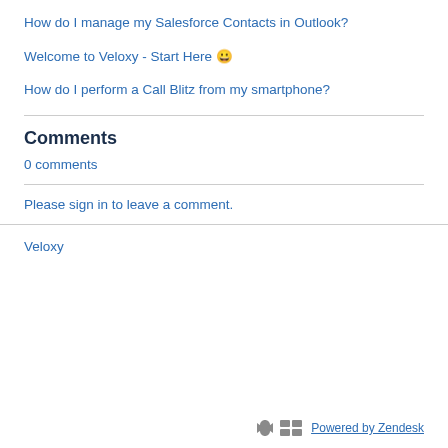How do I manage my Salesforce Contacts in Outlook?
Welcome to Veloxy - Start Here 😊
How do I perform a Call Blitz from my smartphone?
Comments
0 comments
Please sign in to leave a comment.
Veloxy
Powered by Zendesk